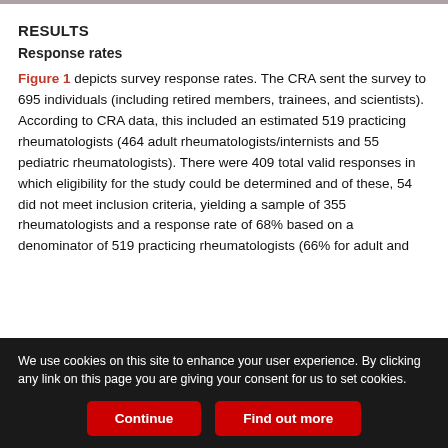RESULTS
Response rates
Figure 1 depicts survey response rates. The CRA sent the survey to 695 individuals (including retired members, trainees, and scientists). According to CRA data, this included an estimated 519 practicing rheumatologists (464 adult rheumatologists/internists and 55 pediatric rheumatologists). There were 409 total valid responses in which eligibility for the study could be determined and of these, 54 did not meet inclusion criteria, yielding a sample of 355 rheumatologists and a response rate of 68% based on a denominator of 519 practicing rheumatologists (66% for adult and
We use cookies on this site to enhance your user experience. By clicking any link on this page you are giving your consent for us to set cookies.
Continue
Find out more